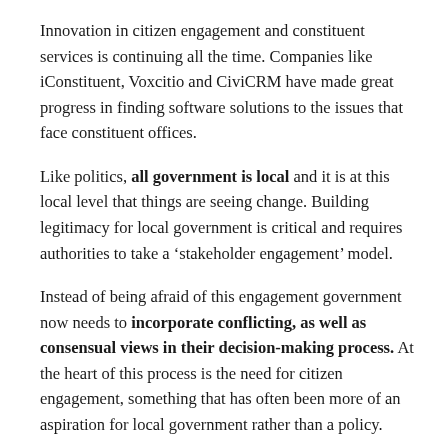Innovation in citizen engagement and constituent services is continuing all the time. Companies like iConstituent, Voxcitio and CiviCRM have made great progress in finding software solutions to the issues that face constituent offices.
Like politics, all government is local and it is at this local level that things are seeing change. Building legitimacy for local government is critical and requires authorities to take a ‘stakeholder engagement’ model.
Instead of being afraid of this engagement government now needs to incorporate conflicting, as well as consensual views in their decision-making process. At the heart of this process is the need for citizen engagement, something that has often been more of an aspiration for local government rather than a policy.